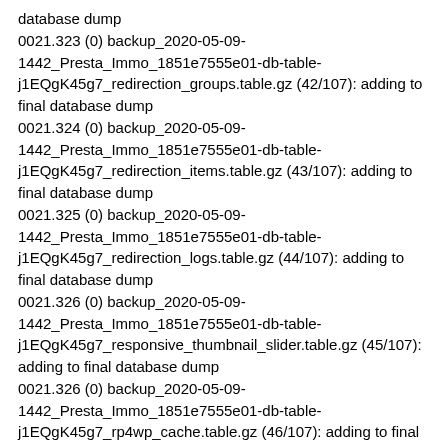database dump
0021.323 (0) backup_2020-05-09-1442_Presta_Immo_1851e7555e01-db-table-j1EQgK45g7_redirection_groups.table.gz (42/107): adding to final database dump
0021.324 (0) backup_2020-05-09-1442_Presta_Immo_1851e7555e01-db-table-j1EQgK45g7_redirection_items.table.gz (43/107): adding to final database dump
0021.325 (0) backup_2020-05-09-1442_Presta_Immo_1851e7555e01-db-table-j1EQgK45g7_redirection_logs.table.gz (44/107): adding to final database dump
0021.326 (0) backup_2020-05-09-1442_Presta_Immo_1851e7555e01-db-table-j1EQgK45g7_responsive_thumbnail_slider.table.gz (45/107): adding to final database dump
0021.326 (0) backup_2020-05-09-1442_Presta_Immo_1851e7555e01-db-table-j1EQgK45g7_rp4wp_cache.table.gz (46/107): adding to final database dump
0021.327 (0) backup_2020-05-09-1442_Presta_Immo_1851e7555e01-db-table-j1EQgK45g7_...table.gz (47/107): adding to final database dump